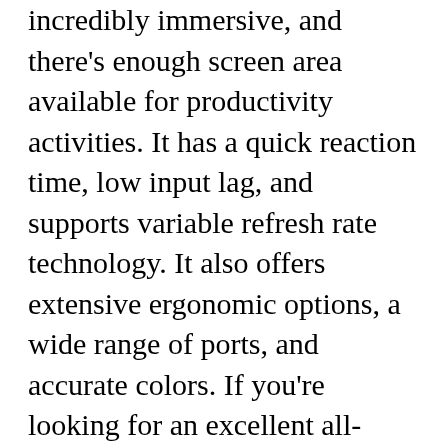incredibly immersive, and there's enough screen area available for productivity activities. It has a quick reaction time, low input lag, and supports variable refresh rate technology. It also offers extensive ergonomic options, a wide range of ports, and accurate colors. If you're looking for an excellent all-rounder that happens to excel at gaming, the LG 38GL950G is the monitor for you.
If you are a graphic designer or a photographer who is looking for a large monitor with excellent image quality, the LG 38GL950G is a great option. The monitor has a wide color gamut and it can display